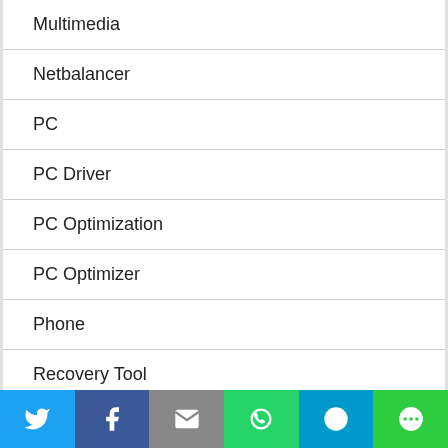Multimedia
Netbalancer
PC
PC Driver
PC Optimization
PC Optimizer
Phone
Recovery Tool